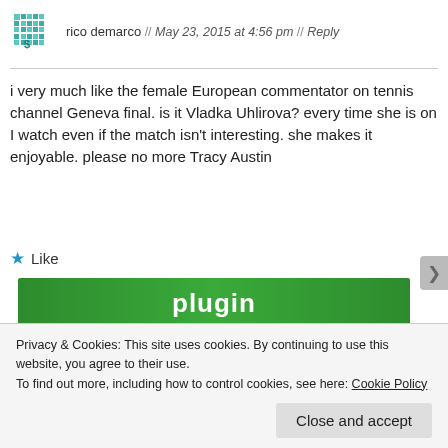rico demarco // May 23, 2015 at 4:56 pm // Reply
i very much like the female European commentator on tennis channel Geneva final. is it Vladka Uhlirova? every time she is on I watch even if the match isn't interesting. she makes it enjoyable. please no more Tracy Austin
Like
[Figure (screenshot): Green plugin banner with white bold text 'plugin']
Privacy & Cookies: This site uses cookies. By continuing to use this website, you agree to their use.
To find out more, including how to control cookies, see here: Cookie Policy
Close and accept